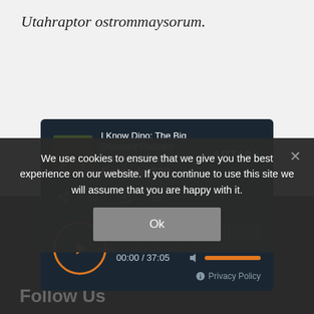Utahraptor ostrommaysorum.
[Figure (screenshot): Embedded podcast audio player from ART19. Shows 'I Know Dino: The Big Dinosaur Podcast' with episode 'Indosuchus - Episode 232'. Player has play button, waveform, time display '00:00 / 37:05', volume slider, and Privacy Policy link.]
We use cookies to ensure that we give you the best experience on our website. If you continue to use this site we will assume that you are happy with it.
Ok
Follow Us